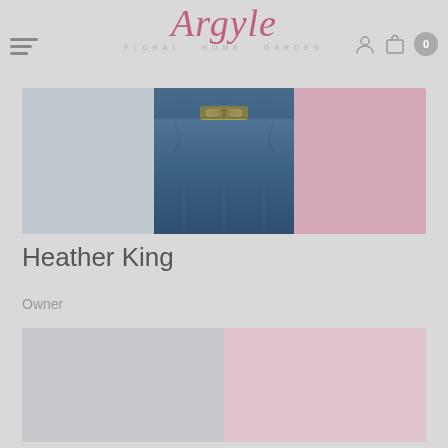[Figure (logo): Argyle Floral Home Garden logo in pink cursive script with subtitle]
[Figure (photo): Cropped photo showing person wearing blue jeans with gold belt buckle, against light blue and pink background]
Heather King
Owner
[Figure (photo): Second partially visible photo with light grey and pink sections]